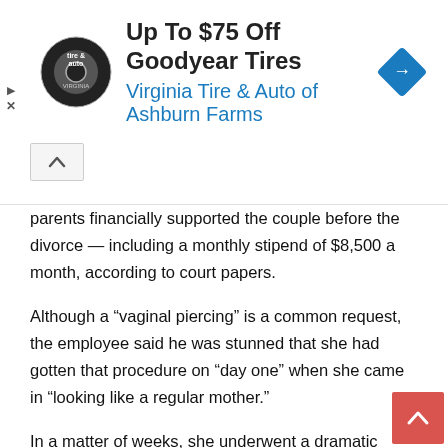[Figure (other): Advertisement banner: Virginia Tire & Auto of Ashburn Farms — Up To $75 Off Goodyear Tires. Shows a circular tire & auto logo on the left and a blue diamond road-sign icon on the right.]
parents financially supported the couple before the divorce — including a monthly stipend of $8,500 a month, according to court papers.
Although a “vaginal piercing” is a common request, the employee said he was stunned that she had gotten that procedure on “day one” when she came in “looking like a regular mother.”
In a matter of weeks, she underwent a dramatic transformation, he said.
“She went from this goody two shoes girl to this wild lady,” he said, noting the waiver photos that illustrate the change. “I just